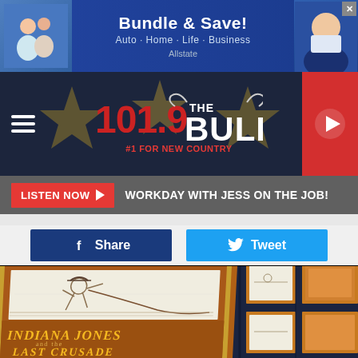[Figure (screenshot): Allstate advertisement banner: Bundle & Save! Auto · Home · Life · Business]
[Figure (screenshot): 101.9 The Bull radio station navigation bar with hamburger menu, logo, and play button]
LISTEN NOW ▶   WORKDAY WITH JESS ON THE JOB!
f Share    Tweet
[Figure (photo): Indiana Jones and the Last Crusade framed storyboard sketch displayed on wall alongside other framed movie artwork]